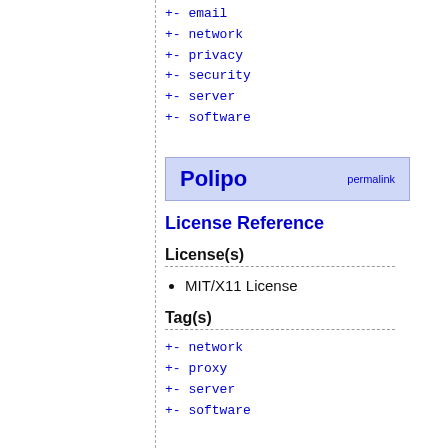+- email
+- network
+- privacy
+- security
+- server
+- software
Polipo
License Reference
License(s)
MIT/X11 License
Tag(s)
+- network
+- proxy
+- server
+- software